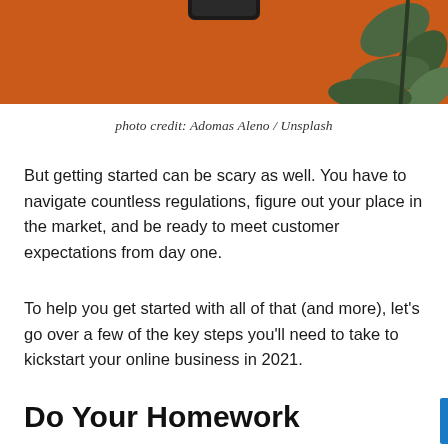[Figure (photo): Partial photo showing an orange background with a smartphone and green plant leaves visible, cropped at top of page]
photo credit: Adomas Aleno / Unsplash
But getting started can be scary as well. You have to navigate countless regulations, figure out your place in the market, and be ready to meet customer expectations from day one.
To help you get started with all of that (and more), let's go over a few of the key steps you'll need to take to kickstart your online business in 2021.
Do Your Homework